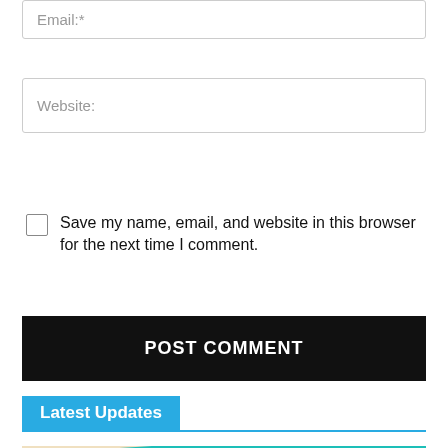Email:*
Website:
Save my name, email, and website in this browser for the next time I comment.
POST COMMENT
Latest Updates
[Figure (photo): StarPlus TV show promotional banner featuring a woman in a red saree on a teal background with StarPlus logo]